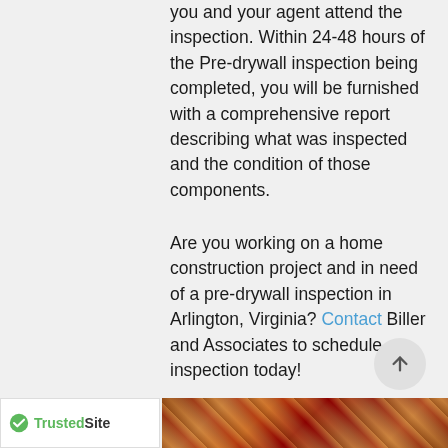you and your agent attend the inspection. Within 24-48 hours of the Pre-drywall inspection being completed, you will be furnished with a comprehensive report describing what was inspected and the condition of those components.
Are you working on a home construction project and in need of a pre-drywall inspection in Arlington, Virginia? Contact Biller and Associates to schedule an inspection today!
[Figure (logo): TrustedSite logo with green checkmark]
[Figure (photo): Decorative wood/material photo in footer area]